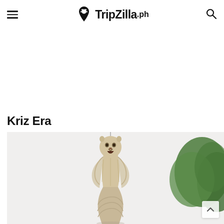TripZilla.ph
Kriz Era
[Figure (photo): Close-up photo of the Merlion statue in Singapore with trees visible in the background against a pale sky]